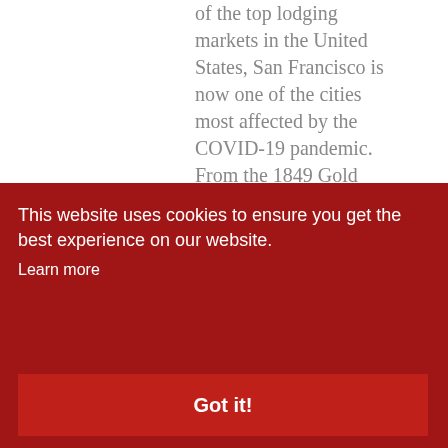of the top lodging markets in the United States, San Francisco is now one of the cities most affected by the COVID-19 pandemic. From the 1849 Gold Rush to the present day, San Francisco has been known for its boom-and-bust economy, and a full recovery from the current downturn is expected, as in years past
This website uses cookies to ensure you get the best experience on our website. Learn more
Got it!
Travel & Tourism, Economic